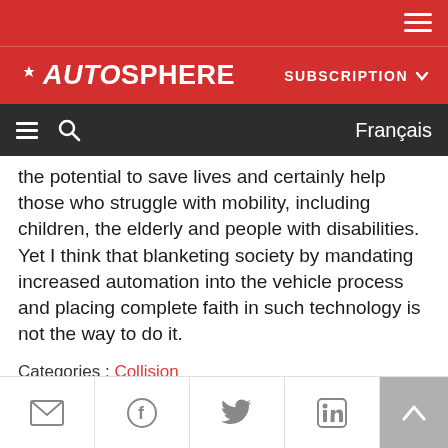[Figure (screenshot): Autosphere website header with red background, hamburger menu icon on the right]
AUTOSPHERE   SUBSCRIPTION
≡  🔍  Français
the potential to save lives and certainly help those who struggle with mobility, including children, the elderly and people with disabilities. Yet I think that blanketing society by mandating increased automation into the vehicle process and placing complete faith in such technology is not the way to do it.
Categories : Collision
[Figure (infographic): Social share icons: email, Facebook, Twitter, LinkedIn, and scroll-to-top button]